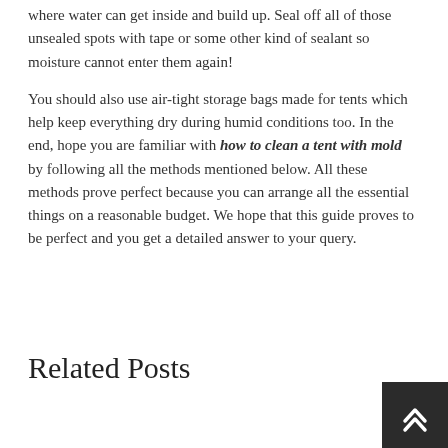where water can get inside and build up. Seal off all of those unsealed spots with tape or some other kind of sealant so moisture cannot enter them again!
You should also use air-tight storage bags made for tents which help keep everything dry during humid conditions too. In the end, hope you are familiar with how to clean a tent with mold by following all the methods mentioned below. All these methods prove perfect because you can arrange all the essential things on a reasonable budget. We hope that this guide proves to be perfect and you get a detailed answer to your query.
Related Posts